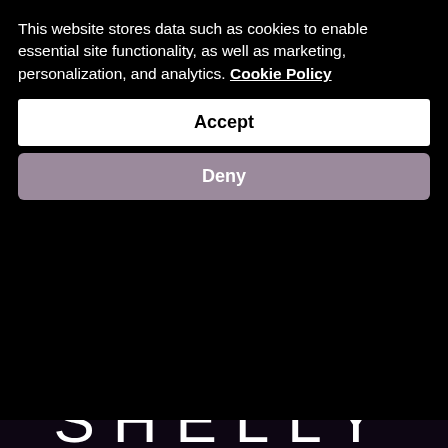This website stores data such as cookies to enable essential site functionality, as well as marketing, personalization, and analytics. Cookie Policy
Accept
Deny
[Figure (photo): Close-up photo of sparkling gemstones and crystals in pink, purple, and clear colors scattered on a dark black fabric background. Partially visible text 'SHELLY' in large white letters at the bottom.]
SHELLY